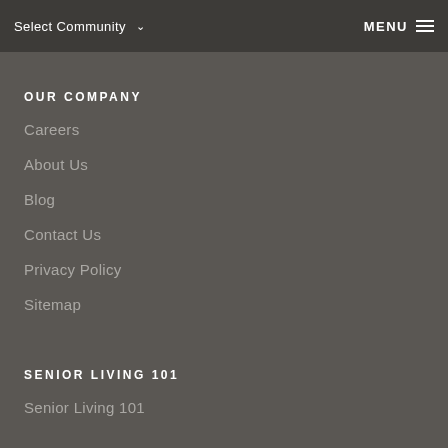Select Community  MENU
OUR COMPANY
Careers
About Us
Blog
Contact Us
Privacy Policy
Sitemap
SENIOR LIVING 101
Senior Living 101